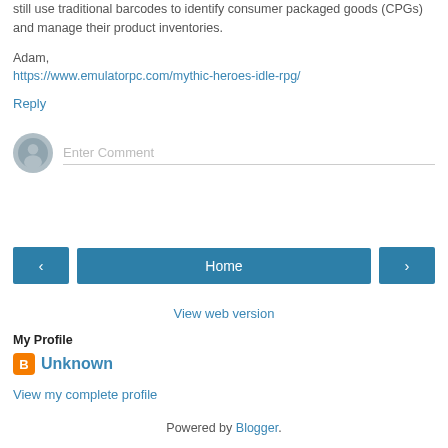still use traditional barcodes to identify consumer packaged goods (CPGs) and manage their product inventories.
Adam,
https://www.emulatorpc.com/mythic-heroes-idle-rpg/
Reply
[Figure (other): Comment input area with grey avatar icon and 'Enter Comment' placeholder text field]
[Figure (other): Navigation bar with left arrow button, Home button, and right arrow button in blue]
View web version
My Profile
Unknown
View my complete profile
Powered by Blogger.